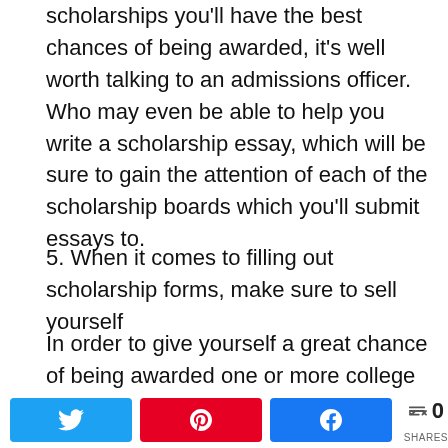scholarships you'll have the best chances of being awarded, it's well worth talking to an admissions officer. Who may even be able to help you write a scholarship essay, which will be sure to gain the attention of each of the scholarship boards which you'll submit essays to.
5. When it comes to filling out scholarship forms, make sure to sell yourself
In order to give yourself a great chance of being awarded one or more college scholarships, make sure to highlight all of your positive qualities and accomplishments in your scholarship applications.